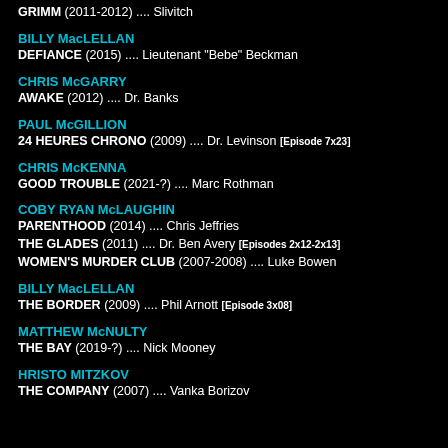GRIMM (2011-2012) .... Slivitch
BILLY MacLELLAN
DEFIANCE (2015) .... Lieutenant "Bebe" Beckman
CHRIS McGARRY
AWAKE (2012) .... Dr. Banks
PAUL McGILLION
24 HEURES CHRONO (2009) .... Dr. Levinson [Episode 7x23]
CHRIS McKENNA
GOOD TROUBLE (2021-?) .... Marc Rothman
COBY RYAN McLAUGHIN
PARENTHOOD (2014) .... Chris Jeffries
THE GLADES (2011) .... Dr. Ben Avery [Episodes 2x12-2x13]
WOMEN'S MURDER CLUB (2007-2008) .... Luke Bowen
BILLY MacLELLAN
THE BORDER (2009) .... Phil Arnott [Episode 3x08]
MATTHEW McNULTY
THE BAY (2019-?) .... Nick Mooney
HRISTO MITZKOV
THE COMPANY (2007) .... Vanka Borizov